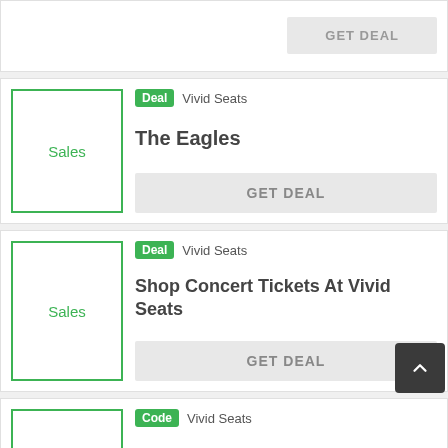[Figure (other): Partial top card with GET DEAL button]
[Figure (other): Sales card thumbnail for The Eagles deal]
Deal  Vivid Seats
The Eagles
GET DEAL
[Figure (other): Sales card thumbnail for Shop Concert Tickets At Vivid Seats deal]
Deal  Vivid Seats
Shop Concert Tickets At Vivid Seats
GET DEAL
[Figure (other): Partial bottom card with Code badge and Vivid Seats label]
Code  Vivid Seats